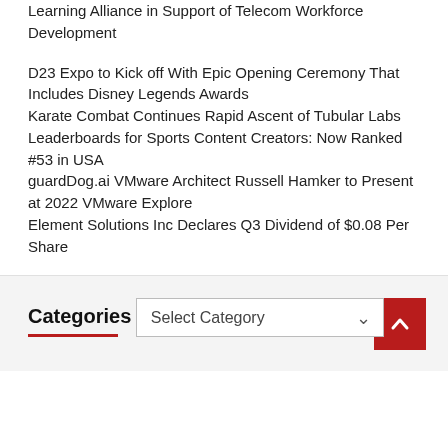150 Truss Donates Two Carbon Fiber Cell Towers to Learning Alliance in Support of Telecom Workforce Development
D23 Expo to Kick off With Epic Opening Ceremony That Includes Disney Legends Awards
Karate Combat Continues Rapid Ascent of Tubular Labs Leaderboards for Sports Content Creators: Now Ranked #53 in USA
guardDog.ai VMware Architect Russell Hamker to Present at 2022 VMware Explore
Element Solutions Inc Declares Q3 Dividend of $0.08 Per Share
Categories
Select Category